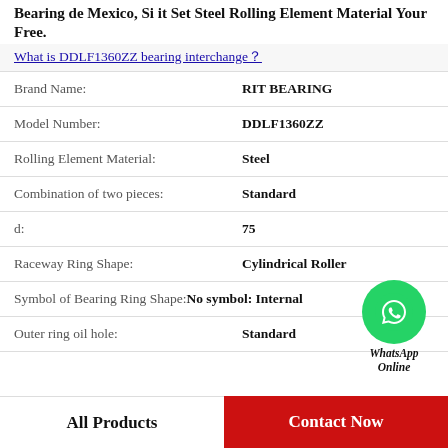Bearing de Mexico, Si it Set Steel Rolling Element Material Your Free.
What is DDLF1360ZZ bearing interchange？
| Property | Value |
| --- | --- |
| Brand Name: | RIT BEARING |
| Model Number: | DDLF1360ZZ |
| Rolling Element Material: | Steel |
| Combination of two pieces: | Standard |
| d: | 75 |
| Raceway Ring Shape: | Cylindrical Roller |
| Symbol of Bearing Ring Shape: | No symbol: Internal |
| Outer ring oil hole: | Standard |
[Figure (logo): WhatsApp Online green phone icon with text 'WhatsApp Online']
All Products
Contact Now